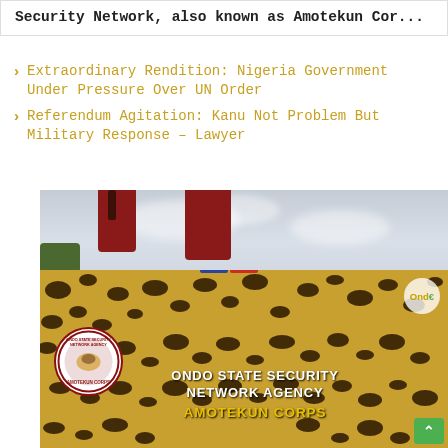Security Network, also known as Amotekun Cor...
> Extraordinary Rendition: Nigeria Government Under Pressure Over UN Order
> Referendum Agitation: Kanu Not Problem But Military Response – Lawyer
[Figure (photo): Two men in maroon/dark red uniforms and matching wide-brim hats, wearing sunglasses, one with a face mask, holding rifles, standing in the back of a leopard-print vehicle marked 'ONDO STATE SECURITY NETWORK AGENCY AMOTEKUN CORPS']